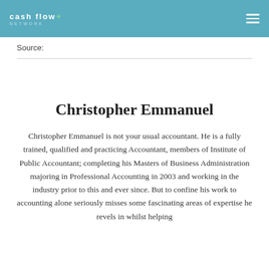cashflow+ network
Source:
Christopher Emmanuel
Christopher Emmanuel is not your usual accountant. He is a fully trained, qualified and practicing Accountant, members of Institute of Public Accountant; completing his Masters of Business Administration majoring in Professional Accounting in 2003 and working in the industry prior to this and ever since. But to confine his work to accounting alone seriously misses some fascinating areas of expertise he revels in whilst helping